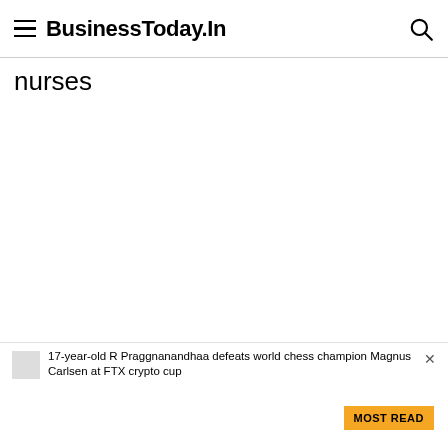BusinessToday.In
nurses
17-year-old R Praggnanandhaa defeats world chess champion Magnus Carlsen at FTX crypto cup
MOST READ